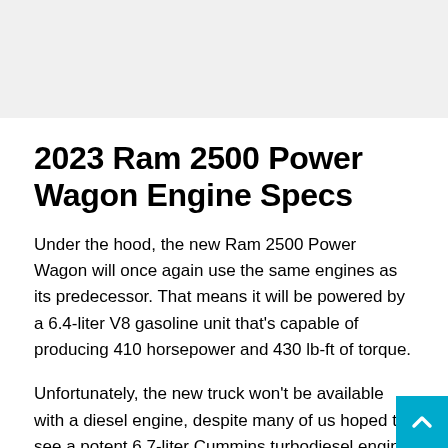[Figure (photo): Gray placeholder image area at top of page]
2023 Ram 2500 Power Wagon Engine Specs
Under the hood, the new Ram 2500 Power Wagon will once again use the same engines as its predecessor. That means it will be powered by a 6.4-liter V8 gasoline unit that’s capable of producing 410 horsepower and 430 lb-ft of torque.
Unfortunately, the new truck won’t be available with a diesel engine, despite many of us hoped to see a potent 6.7-liter Cummins turbodiesel engine that produces 400 hp and over 900 lb-ft of torque. However, a hybrid powertrain is a possibility, but it could power the next generation model. As current model, Ram will probably provide a standard 4WD